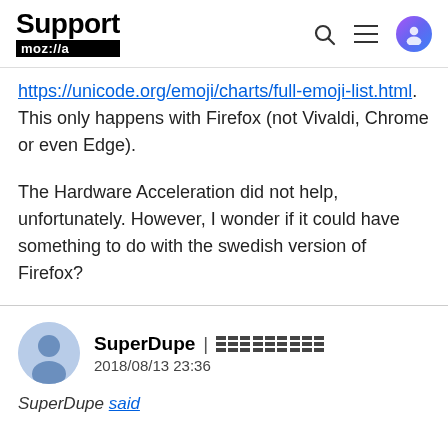Support mozilla
https://unicode.org/emoji/charts/full-emoji-list.html. This only happens with Firefox (not Vivaldi, Chrome or even Edge).
The Hardware Acceleration did not help, unfortunately. However, I wonder if it could have something to do with the swedish version of Firefox?
SuperDupe | 2018/08/13 23:36
SuperDupe said